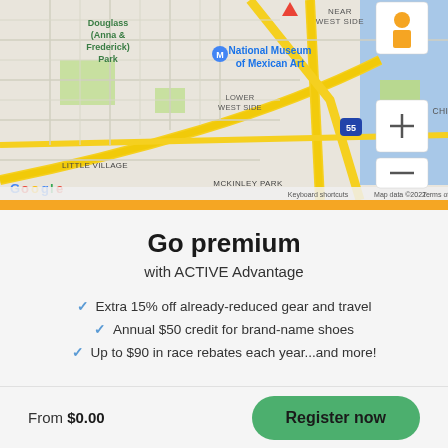[Figure (map): Google Maps view of Chicago South Side showing Douglass Park, National Museum of Mexican Art, Little Village, McKinley Park, Chinatown, Guaranteed Rate Field, Douglas, Near West Side, Lower West Side, South Loop neighborhoods. Map data ©2022. Keyboard shortcuts and Terms of Use links visible at bottom.]
Go premium
with ACTIVE Advantage
Extra 15% off already-reduced gear and travel
Annual $50 credit for brand-name shoes
Up to $90 in race rebates each year...and more!
From $0.00
Register now